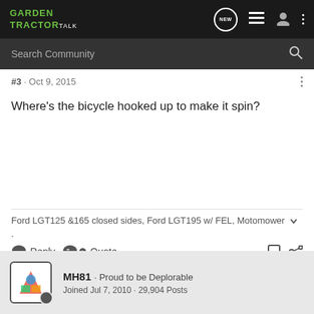GARDEN TRACTOR TALK
Search Community
#3 · Oct 9, 2015
Where's the bicycle hooked up to make it spin?
Ford LGT125 &165 closed sides, Ford LGT195 w/ FEL, Motomower
. Reply  Quote
MH81 · Proud to be Deplorable
Joined Jul 7, 2010 · 29,904 Posts